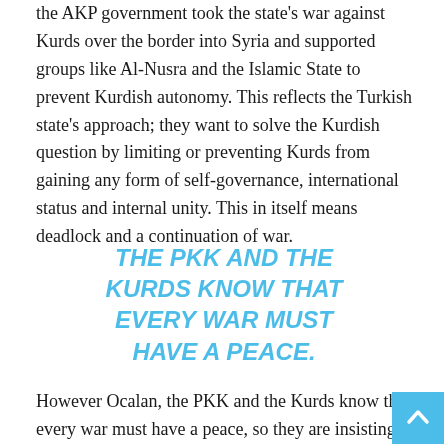the AKP government took the state's war against Kurds over the border into Syria and supported groups like Al-Nusra and the Islamic State to prevent Kurdish autonomy. This reflects the Turkish state's approach; they want to solve the Kurdish question by limiting or preventing Kurds from gaining any form of self-governance, international status and internal unity. This in itself means deadlock and a continuation of war.
THE PKK AND THE KURDS KNOW THAT EVERY WAR MUST HAVE A PEACE.
However Ocalan, the PKK and the Kurds know that every war must have a peace, so they are insisting on nourishing the peace process and developing it from the discussion phase, which is where it is now, to the negotiation phase. If the Turkish state can change its mentality it will democratise